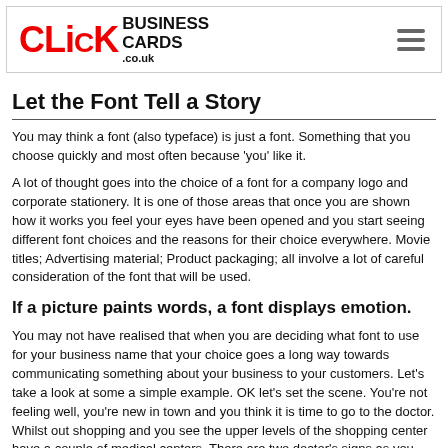CLiCK BUSINESS CARDS .co.uk
Let the Font Tell a Story
You may think a font (also typeface) is just a font. Something that you choose quickly and most often because 'you' like it.
A lot of thought goes into the choice of a font for a company logo and corporate stationery. It is one of those areas that once you are shown how it works you feel your eyes have been opened and you start seeing different font choices and the reasons for their choice everywhere. Movie titles; Advertising material; Product packaging; all involve a lot of careful consideration of the font that will be used.
If a picture paints words, a font displays emotion.
You may not have realised that when you are deciding what font to use for your business name that your choice goes a long way towards communicating something about your business to your customers. Let's take a look at some a simple example. OK let's set the scene. You're not feeling well, you're new in town and you think it is time to go to the doctor. Whilst out shopping and you see the upper levels of the shopping center have a couple of medical centers. There are two doctor's signs as you walk along the third floor corridor. Think, what emotions do these signs communicate to you....